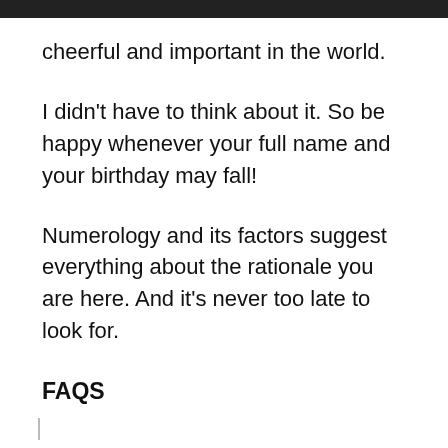cheerful and important in the world.
I didn't have to think about it. So be happy whenever your full name and your birthday may fall!
Numerology and its factors suggest everything about the rationale you are here. And it's never too late to look for.
FAQS